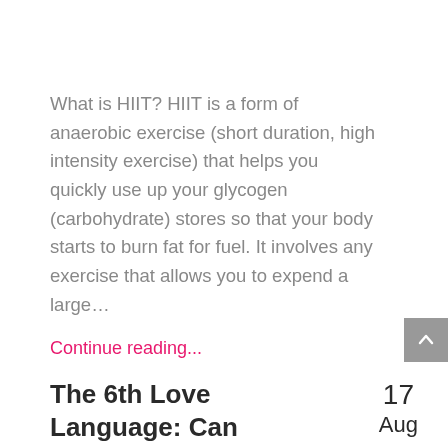What is HIIT? HIIT is a form of anaerobic exercise (short duration, high intensity exercise) that helps you quickly use up your glycogen (carbohydrate) stores so that your body starts to burn fat for fuel. It involves any exercise that allows you to expend a large...
Continue reading...
The 6th Love Language: Can Exercise Improve The
17 Aug